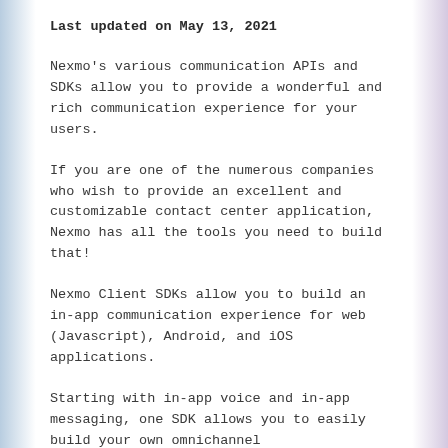Last updated on May 13, 2021
Nexmo's various communication APIs and SDKs allow you to provide a wonderful and rich communication experience for your users.
If you are one of the numerous companies who wish to provide an excellent and customizable contact center application, Nexmo has all the tools you need to build that!
Nexmo Client SDKs allow you to build an in-app communication experience for web (Javascript), Android, and iOS applications.
Starting with in-app voice and in-app messaging, one SDK allows you to easily build your own omnichannel solution. You can build a fully…